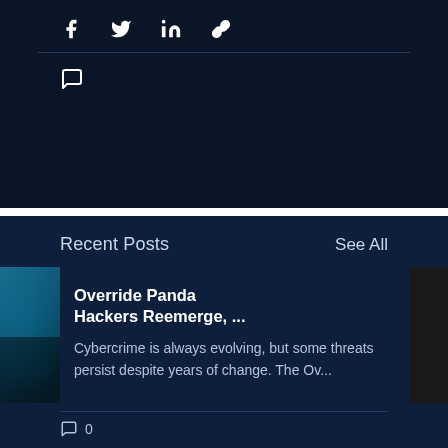[Figure (infographic): Social media share icons: Facebook (f), Twitter (bird), LinkedIn (in), and a link/chain icon on dark navy background]
[Figure (infographic): Comment/chat bubble icon on dark navy background]
Recent Posts
See All
Override Panda Hackers Reemerge, ...
Cybercrime is always evolving, but some threats persist despite years of change. The Ov...
0